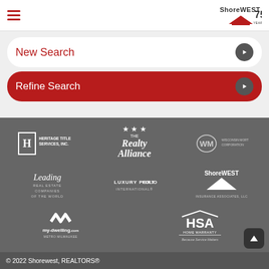Shorewest 75 Years
New Search
Refine Search
[Figure (logo): Heritage Title Services, Inc. logo]
[Figure (logo): The Realty Alliance logo with stars]
[Figure (logo): Wisconsin Mortgage Corporation (WM) logo]
[Figure (logo): Leading Real Estate Companies of the World logo]
[Figure (logo): Luxury Portfolio International logo]
[Figure (logo): Shorewest Insurance Associates, LLC logo]
[Figure (logo): my-dwelling.com Metro Milwaukee logo]
[Figure (logo): HSA Home Warranty - Because Service Matters logo]
© 2022 Shorewest, REALTORS®